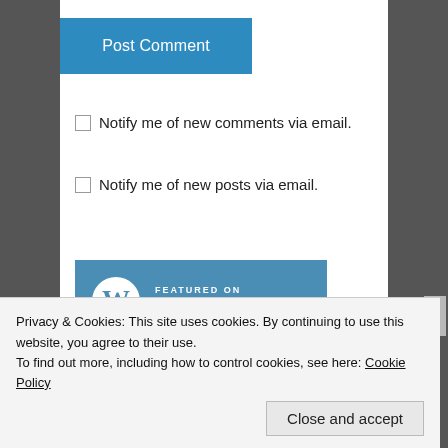Post Comment
Notify me of new comments via email.
Notify me of new posts via email.
[Figure (logo): WordPress Freshly Pressed featured badge — blue rectangle with WordPress W logo circle and text 'FEATURED ON Freshly Pressed']
Privacy & Cookies: This site uses cookies. By continuing to use this website, you agree to their use.
To find out more, including how to control cookies, see here: Cookie Policy
Close and accept